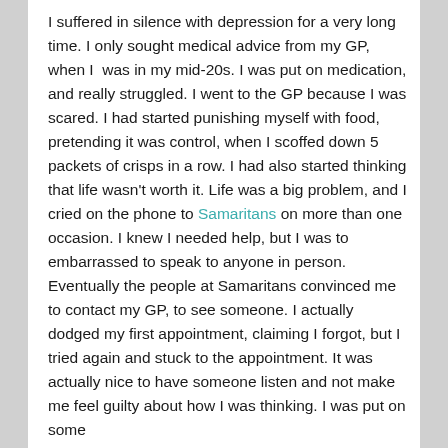I suffered in silence with depression for a very long time. I only sought medical advice from my GP, when I  was in my mid-20s. I was put on medication, and really struggled. I went to the GP because I was scared. I had started punishing myself with food, pretending it was control, when I scoffed down 5 packets of crisps in a row. I had also started thinking that life wasn't worth it. Life was a big problem, and I cried on the phone to Samaritans on more than one occasion. I knew I needed help, but I was to embarrassed to speak to anyone in person. Eventually the people at Samaritans convinced me to contact my GP, to see someone. I actually dodged my first appointment, claiming I forgot, but I tried again and stuck to the appointment. It was actually nice to have someone listen and not make me feel guilty about how I was thinking. I was put on some